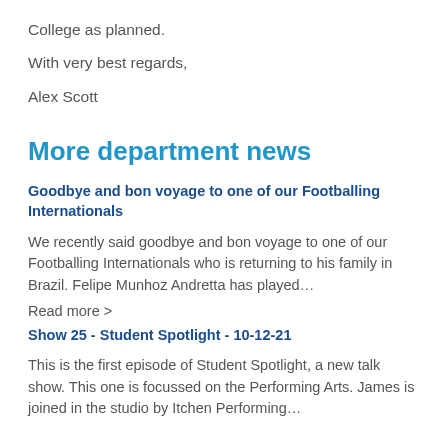College as planned.
With very best regards,
Alex Scott
More department news
Goodbye and bon voyage to one of our Footballing Internationals
We recently said goodbye and bon voyage to one of our Footballing Internationals who is returning to his family in Brazil. Felipe Munhoz Andretta has played…
Read more >
Show 25 - Student Spotlight - 10-12-21
This is the first episode of Student Spotlight, a new talk show. This one is focussed on the Performing Arts. James is joined in the studio by Itchen Performing…